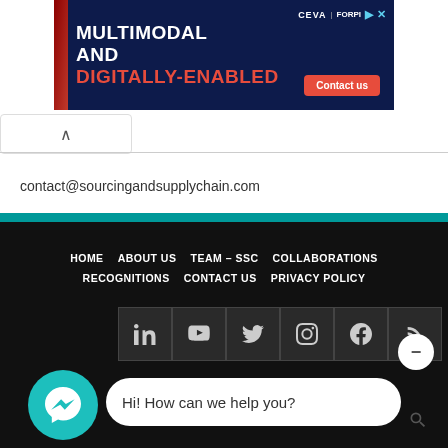[Figure (illustration): CEVA Logistics advertisement banner: dark navy background with red accent strip on left, white bold text 'MULTIMODAL AND' and red bold text 'DIGITALLY-ENABLED', CEVA Logistics logo and ForP branding top right, red 'Contact us' button bottom right]
contact@sourcingandsupplychain.com
[Figure (infographic): Website footer navigation on black background with menu items: HOME, ABOUT US, TEAM – SSC, COLLABORATIONS, RECOGNITIONS, CONTACT US, PRIVACY POLICY, followed by social media icons bar (LinkedIn, YouTube, Twitter, Instagram, Facebook, RSS) in dark grey squares, with a teal Messenger chat bubble and 'Hi! How can we help you?' chat input bar at the bottom]
Hi! How can we help you?